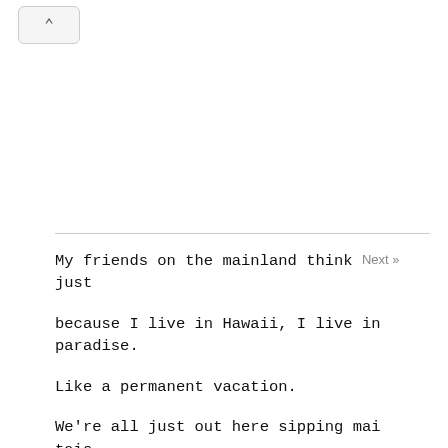[Figure (other): Up arrow chevron button in top-left corner]
My friends on the mainland think just

because I live in Hawaii, I live in paradise.

Like a permanent vacation.

We're all just out here sipping mai tais,

shaking our hips, and catching waves.